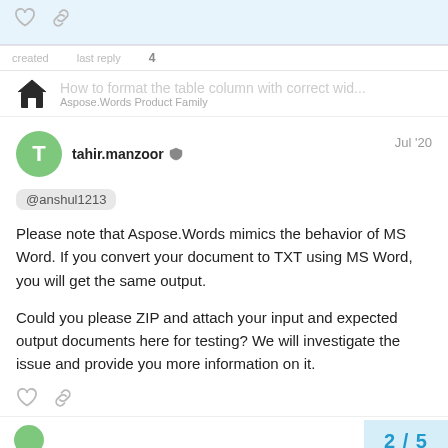How to format the table column with correct wid... | Aspose.Words Product Family
tahir.manzoor  Jul '20
@anshul1213
Please note that Aspose.Words mimics the behavior of MS Word. If you convert your document to TXT using MS Word, you will get the same output.
Could you please ZIP and attach your input and expected output documents here for testing? We will investigate the issue and provide you more information on it.
2 / 5